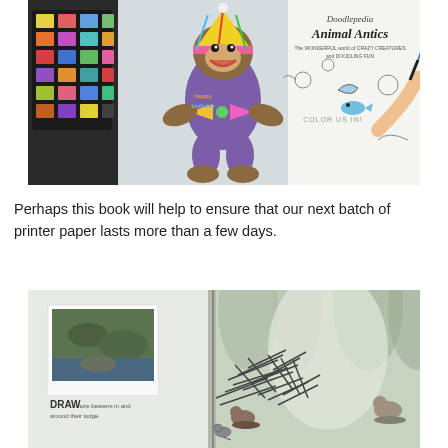[Figure (photo): A sock monkey toy wearing a birthday hat and colorful bow tie, sitting next to watercolor paints, with a person's hand drawing in a 'Doodlepedia Animal Antics' coloring/activity book in the background. The book cover reads 'Doodlepedia Animal Antics - The wonderful world of crazy creatures and doodling fun'. The open page says 'COLOR US IN!']
Perhaps this book will help to ensure that our next batch of printer paper lasts more than a few days.
[Figure (photo): An open book spread showing a doodling activity book page. The left page has a polaroid-style photo of beavers near a dam and text saying 'DRAW more beavers in and around their lodge'. The right page shows a partially drawn beaver lodge made of sticks with small animal figures around it, set against a misty forest background.]